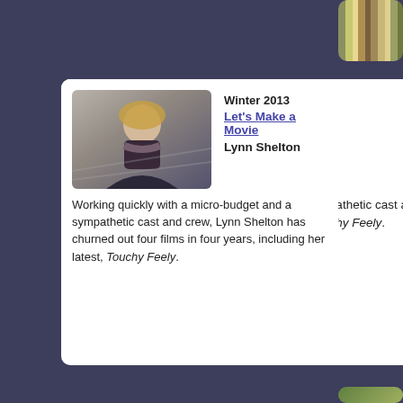[Figure (photo): Partial right-side card showing striped book spines or colored vertical bands, top right corner]
With series prov unde unde
[Figure (photo): Lynn Shelton photo - woman with long blonde hair standing on railroad tracks]
Winter 2013
Let's Make a Movie
Lynn Shelton
Working quickly with a micro-budget and a sympathetic cast and crew, Lynn Shelton has churned out four films in four years, including her latest, Touchy Feely.
[Figure (photo): Susanne Bier photo - woman with dark short hair]
Winter 2012
Small World
Susanne Bier
Danish director Susanne Bier won an Oscar for In a Better World, but her international style may be seen as too commercial in Europe and too artsy for Hollywood. The reality is somewhere in between.
[Figure (photo): Partial right-side card showing man near brick wall, partially visible]
After Lee a bu abou
[Figure (photo): Partial card at bottom right corner]